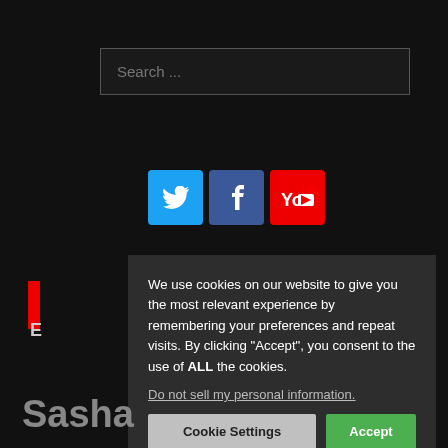[Figure (screenshot): Search input box with placeholder text 'Search ...' on dark background]
[Figure (infographic): Social media icon buttons: Twitter (blue bird), Facebook (blue f), YouTube (red play button)]
[Figure (logo): Website logo with red vertical bar and letter E on black background]
We use cookies on our website to give you the most relevant experience by remembering your preferences and repeat visits. By clicking “Accept”, you consent to the use of ALL the cookies.
Do not sell my personal information.
Cookie Settings
Accept
Privacy Policy
Sasha